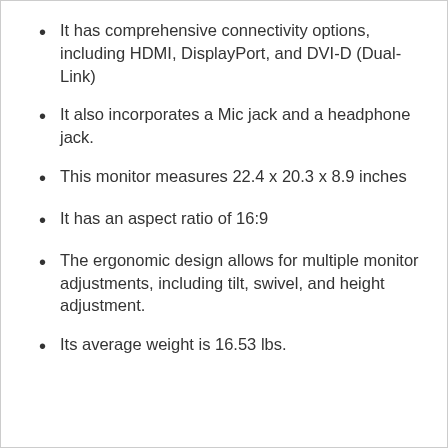It has comprehensive connectivity options, including HDMI, DisplayPort, and DVI-D (Dual-Link)
It also incorporates a Mic jack and a headphone jack.
This monitor measures 22.4 x 20.3 x 8.9 inches
It has an aspect ratio of 16:9
The ergonomic design allows for multiple monitor adjustments, including tilt, swivel, and height adjustment.
Its average weight is 16.53 lbs.